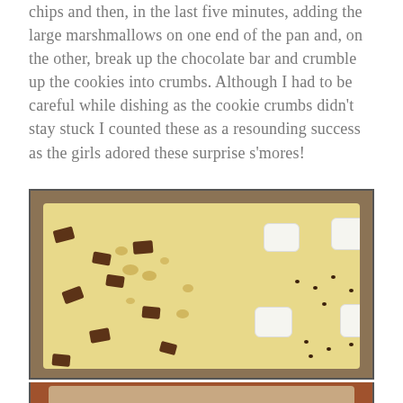chips and then, in the last five minutes, adding the large marshmallows on one end of the pan and, on the other, break up the chocolate bar and crumble up the cookies into crumbs. Although I had to be careful while dishing as the cookie crumbs didn't stay stuck I counted these as a resounding success as the girls adored these surprise s'mores!
[Figure (photo): A baking pan filled with blondie batter topped with broken chocolate bar pieces and cookie crumbs on the left side, and large marshmallows and chocolate chips on the right side, ready to go into the oven.]
[Figure (photo): Partial view of a second photo, likely showing the finished baked s'mores blondies.]